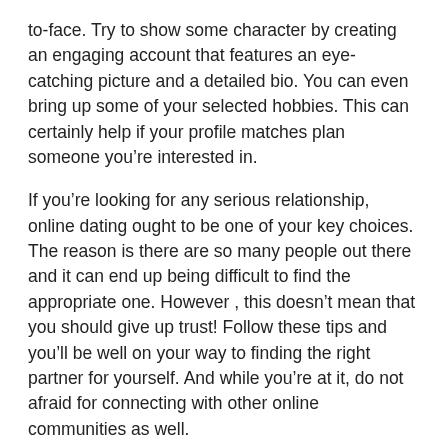to-face. Try to show some character by creating an engaging account that features an eye-catching picture and a detailed bio. You can even bring up some of your selected hobbies. This can certainly help if your profile matches plan someone you're interested in.
If you're looking for any serious relationship, online dating ought to be one of your key choices. The reason is there are so many people out there and it can end up being difficult to find the appropriate one. However , this doesn't mean that you should give up trust! Follow these tips and you'll be well on your way to finding the right partner for yourself. And while you're at it, do not afraid for connecting with other online communities as well.
Bear in mind that online dating services isn't a speedy process – it takes persistence and a lot of fortune! While some people meet their very own perfect match within a